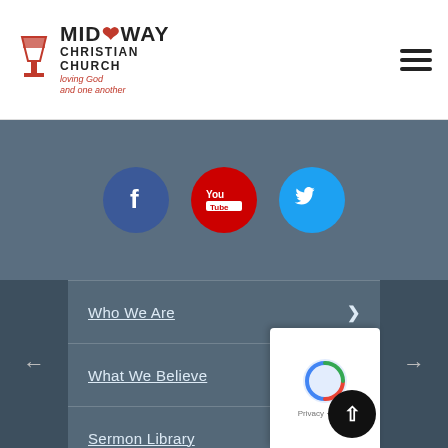Midway Christian Church — loving God and one another
[Figure (logo): Midway Christian Church logo with chalice icon and tagline 'loving God and one another']
[Figure (infographic): Social media icons: Facebook (blue circle), YouTube (red circle), Twitter (light blue circle)]
Who We Are
What We Believe
Sermon Library
Events
Contact Us